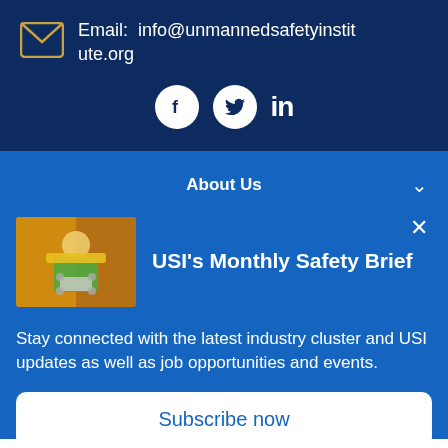Email: info@unmannedsafetyinstitute.org
[Figure (infographic): Social media icons: Facebook, Twitter, LinkedIn]
About Us
[Figure (photo): Worker in safety vest operating a drone]
USI's Monthly Safety Brief
Stay connected with the latest industry cluster and USI updates as well as job opportunities and events.
Subscribe now